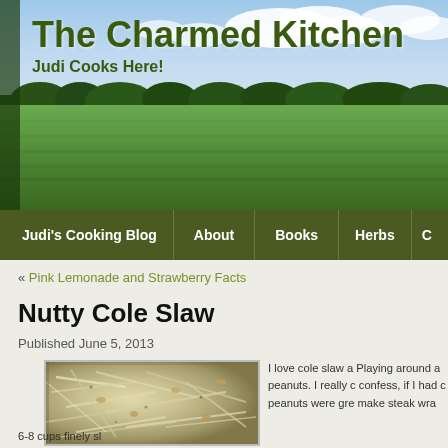[Figure (photo): The Charmed Kitchen blog header with green field landscape background, sky with clouds, and site title overlay]
The Charmed Kitchen
Judi Cooks Here!
Judi's Cooking Blog | About | Books | Herbs
« Pink Lemonade and Strawberry Facts
Nutty Cole Slaw
Published June 5, 2013
[Figure (photo): Close-up photo of nutty cole slaw with shredded cabbage and peanuts in a bowl]
I love cole slaw a Playing around a peanuts. I really c confess, if I had c peanuts were gre make  steak wra
6-8 cups finely sl